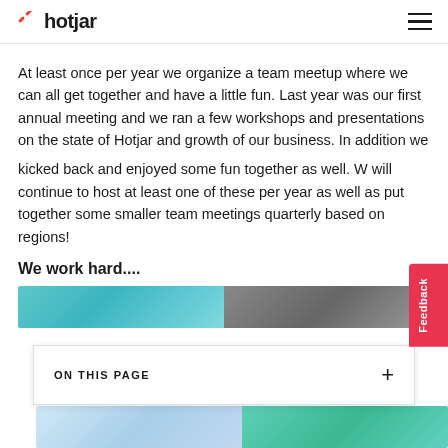hotjar
At least once per year we organize a team meetup where we can all get together and have a little fun. Last year was our first annual meeting and we ran a few workshops and presentations on the state of Hotjar and growth of our business. In addition we kicked back and enjoyed some fun together as well. We will continue to host at least one of these per year as well as put together some smaller team meetings quarterly based on regions!
We work hard....
[Figure (photo): Two side-by-side photos: left photo shows a teal/blue background with a person, right photo shows a dark background with a person]
ON THIS PAGE
[Figure (photo): Two side-by-side photos at bottom: left photo shows a light blue scene, right photo shows a teal scene with people]